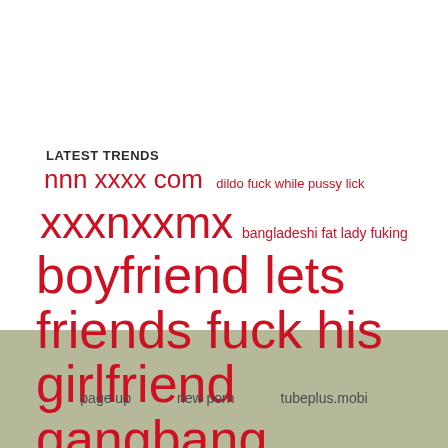LATEST TRENDS
nnn xxxx com   dildo fuck while pussy lick
xxxnxxmx   bangladeshi fat lady fuking
boyfriend lets friends fuck his girlfriend gangbang  japanese forn hub  zzxcx  small girl sex photo
page up    new porn    tubeplus.mobi